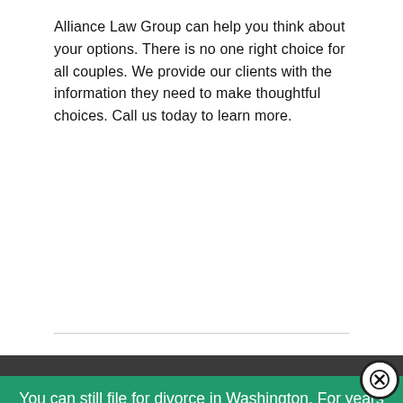Alliance Law Group can help you think about your options. There is no one right choice for all couples. We provide our clients with the information they need to make thoughtful choices. Call us today to learn more.
You can still file for divorce in Washington. For years Alliance Law Group has implemented technology to work with our clients remotely. We have robust technology in place to allow us to work with clients over long-distances and maintain all of our client's information on our secure servers. Continue…